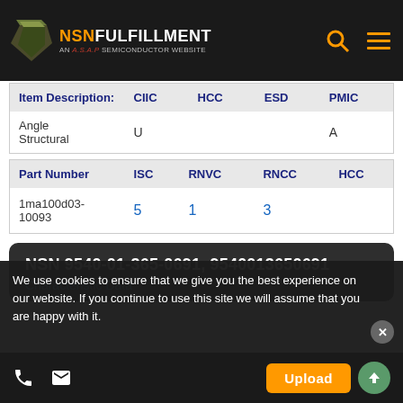NSNFULFILLMENT AN A.S.A.P SEMICONDUCTOR WEBSITE
| Item Description | CIIC | HCC | ESD | PMIC |
| --- | --- | --- | --- | --- |
| Angle Structural | U |  |  | A |
| Part Number | ISC | RNVC | RNCC | HCC |
| --- | --- | --- | --- | --- |
| 1ma100d03-10093 | 5 | 1 | 3 |  |
NSN 9540-01-365-0691, 9540013650691
Characteristic Data
We use cookies to ensure that we give you the best experience on our website. If you continue to use this site we will assume that you are happy with it.
Upload